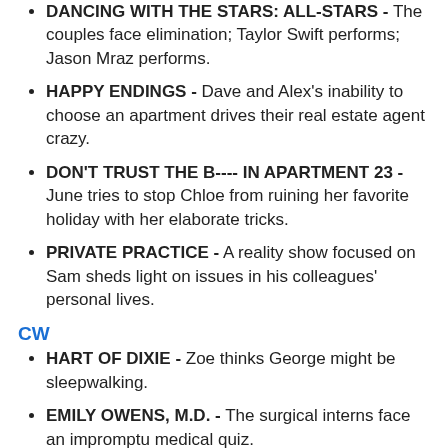DANCING WITH THE STARS: ALL-STARS - The couples face elimination; Taylor Swift performs; Jason Mraz performs.
HAPPY ENDINGS - Dave and Alex's inability to choose an apartment drives their real estate agent crazy.
DON'T TRUST THE B---- IN APARTMENT 23 - June tries to stop Chloe from ruining her favorite holiday with her elaborate tricks.
PRIVATE PRACTICE - A reality show focused on Sam sheds light on issues in his colleagues' personal lives.
CW
HART OF DIXIE - Zoe thinks George might be sleepwalking.
EMILY OWENS, M.D. - The surgical interns face an impromptu medical quiz.